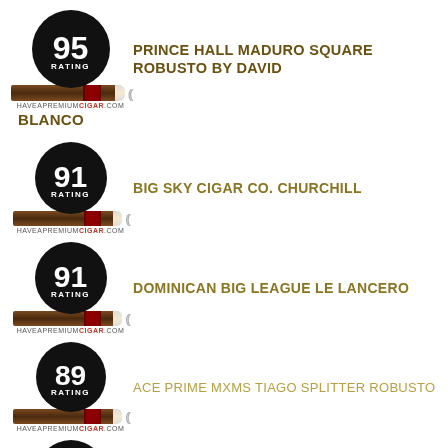[Figure (logo): Cigar rating badge showing 95 rating with cigar image and haveapremiumcigar.com url]
PRINCE HALL MADURO SQUARE ROBUSTO BY DAVID BLANCO
[Figure (logo): Cigar rating badge showing 91 rating with cigar image and haveapremiumcigar.com url]
BIG SKY CIGAR CO. CHURCHILL
[Figure (logo): Cigar rating badge showing 91 rating with cigar image and haveapremiumcigar.com url]
DOMINICAN BIG LEAGUE LE LANCERO
[Figure (logo): Cigar rating badge showing 89 rating with cigar image and haveapremiumcigar.com url]
ACE PRIME MXMS TIAGO SPLITTER ROBUSTO
[Figure (logo): Cigar rating badge showing 92 rating with cigar image and haveapremiumcigar.com url]
EL SEPTIMO GILGAMESH KING SARGON TORO
[Figure (logo): Cigar rating badge partially visible at bottom showing 86 or similar rating]